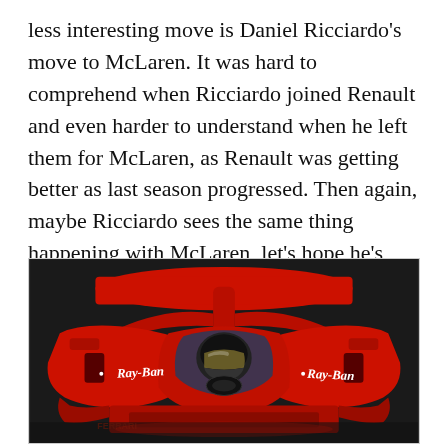less interesting move is Daniel Ricciardo's move to McLaren. It was hard to comprehend when Ricciardo joined Renault and even harder to understand when he left them for McLaren, as Renault was getting better as last season progressed. Then again, maybe Ricciardo sees the same thing happening with McLaren, let's hope he's right in that case.
[Figure (photo): Close-up rear view of a red Ferrari Formula 1 car with a driver seated in the cockpit, wearing a helmet. Ray-Ban logos are visible on both sides of the car's bodywork.]